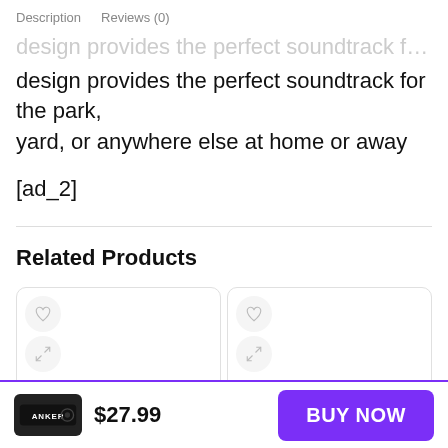Description   Reviews (0)
design provides the perfect soundtrack for the park, yard, or anywhere else at home or away
[ad_2]
Related Products
[Figure (illustration): Two product cards each with a heart/wishlist icon and a compare icon, partially visible]
$27.99   BUY NOW